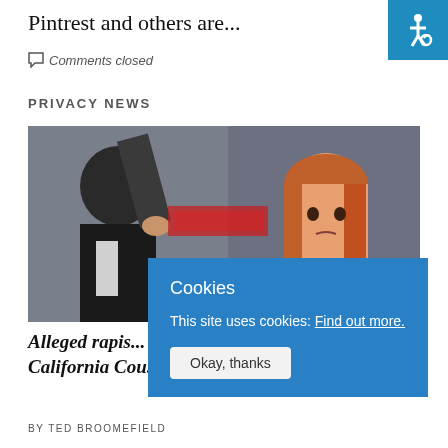Pintrest and others are...
Comments closed
PRIVACY NEWS
[Figure (photo): Two people in a courtroom or formal setting; a man in a suit on the left and a woman with red hair on the right looking concerned]
Alleged rapis... California Cou...
BY TED BROOMEFIELD
Cookies

This site uses cookies: Find out more.

Okay, thanks